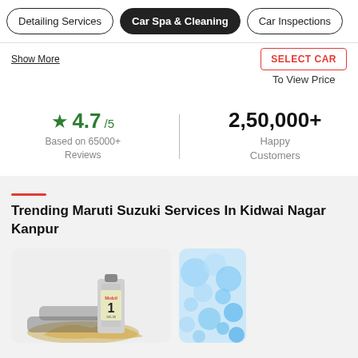Detailing Services | Car Spa & Cleaning | Car Inspections
Show More
SELECT CAR
To View Price
4.7/5 Based on 65000+ Reviews
2,50,000+ Happy Customers
Trending Maruti Suzuki Services In Kidwai Nagar Kanpur
[Figure (photo): Mobil 1 engine oil bottle with oil splash and car in background]
[Figure (photo): Car washing/cleaning service image with blue foam/water]